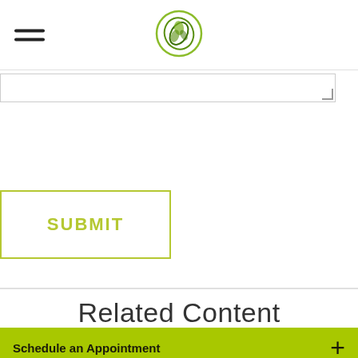[Figure (logo): Green swirl leaf logo icon centered in header]
[Figure (other): Hamburger menu icon (three horizontal lines) in top left of header]
[Figure (other): Search input bar below header with resize handle]
SUBMIT
Related Content
[Figure (photo): Older man with grey hair viewed from behind near basketball court, green trees in background]
Schedule an Appointment